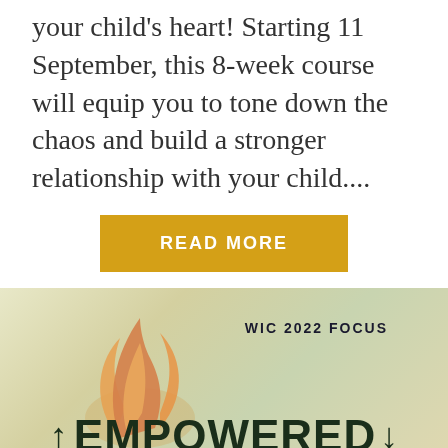your child's heart! Starting 11 September, this 8-week course will equip you to tone down the chaos and build a stronger relationship with your child....
[Figure (other): Golden/amber colored button with white text reading READ MORE in uppercase letters with letter spacing]
[Figure (illustration): Banner image with soft green-yellow watercolor background, orange flame illustration on the left, bold text 'WIC 2022 FOCUS' on upper right, and large bold dark text 'EMPOWERED' at the bottom with upward arrow on left and downward arrow on right]